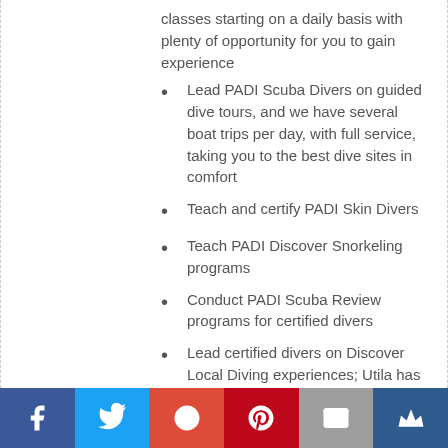classes starting on a daily basis with plenty of opportunity for you to gain experience
Lead PADI Scuba Divers on guided dive tours, and we have several boat trips per day, with full service, taking you to the best dive sites in comfort
Teach and certify PADI Skin Divers
Teach PADI Discover Snorkeling programs
Conduct PADI Scuba Review programs for certified divers
Lead certified divers on Discover Local Diving experiences; Utila has fringing reef systems, North side walls, drop off's, caverns, sea mounts, and Whale sharks, from just a 5 to 30-minute boat ride away, enjoy the commute with Dolphins to some of the best reefs in the